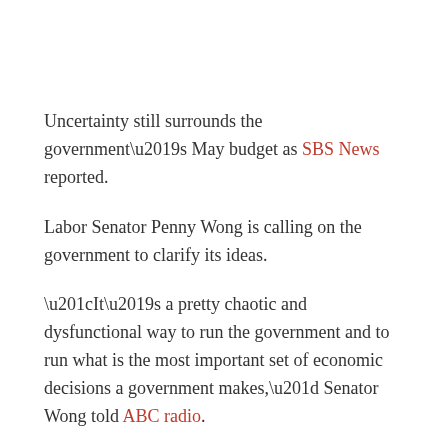Uncertainty still surrounds the government's May budget as SBS News reported.
Labor Senator Penny Wong is calling on the government to clarify its ideas.
“It’s a pretty chaotic and dysfunctional way to run the government and to run what is the most important set of economic decisions a government makes,” Senator Wong told ABC radio.
“The government has got to come clean with the Australian people and the parliament about what their plans are.”
[Figure (screenshot): Broken image placeholder for Screen Shot 2016-03-16 at 12.00.34 PM]